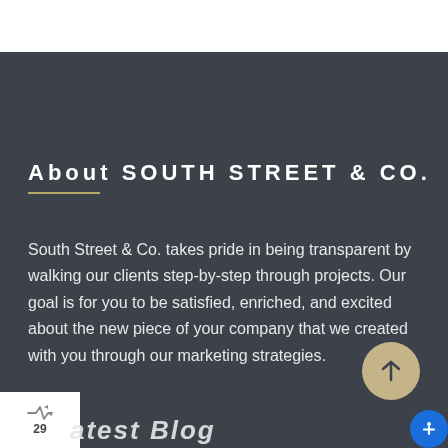About SOUTH STREET & CO.
South Street & Co. takes pride in being transparent by walking our clients step-by-step through projects. Our goal is for you to be satisfied, enriched, and excited about the new piece of your company that we created with you through our marketing strategies.
atest Blog